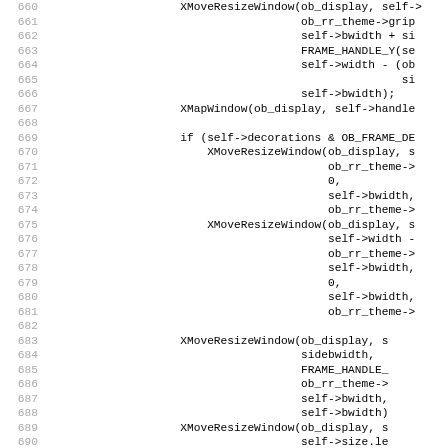[Figure (screenshot): Source code listing showing C code lines 660–691, displaying XMoveResizeWindow and XMapWindow function calls with various parameters including ob_display, self, ob_rr_theme, FRAME_HANDLE_Y, sidebwidth, self->bwidth, self->width, self->decorations, OB_FRAME_DB checks.]